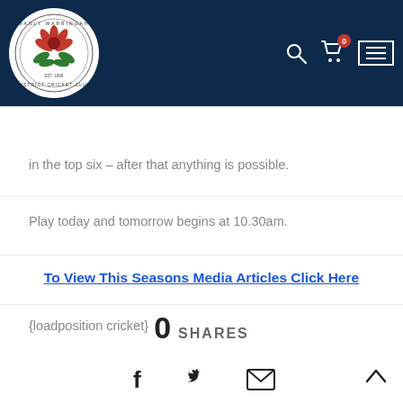[Figure (logo): Manly Warringah District Cricket Club circular logo with red waratah flower on white background]
in the top six – after that anything is possible.
Play today and tomorrow begins at 10.30am.
To View This Seasons Media Articles Click Here
{loadposition cricket}
0 SHARES
[Figure (infographic): Social share icons: Facebook, Twitter, Email, and up-arrow scroll button]